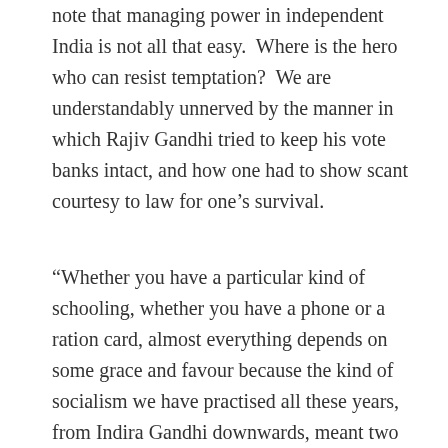note that managing power in independent India is not all that easy.  Where is the hero who can resist temptation?  We are understandably unnerved by the manner in which Rajiv Gandhi tried to keep his vote banks intact, and how one had to show scant courtesy to law for one’s survival.
“Whether you have a particular kind of schooling, whether you have a phone or a ration card, almost everything depends on some grace and favour because the kind of socialism we have practised all these years, from Indira Gandhi downwards, meant two things:  first create an artificial scarcity of every essential item and then exploit that scarcity.”